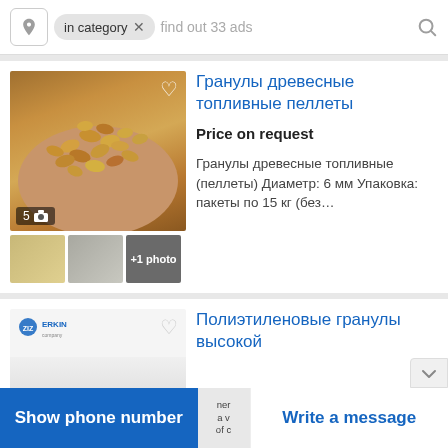in category   find out 33 ads
Гранулы древесные топливные пеллеты
Price on request
Гранулы древесные топливные (пеллеты) Диаметр: 6 мм Упаковка: пакеты по 15 кг (без…
[Figure (photo): Hand holding wooden fuel pellets, with thumbnail images below showing pellets and granules]
Полиэтиленовые гранулы высокой
[Figure (photo): Partial product image with ZIZ ERKIN company logo]
Show phone number   Write a message